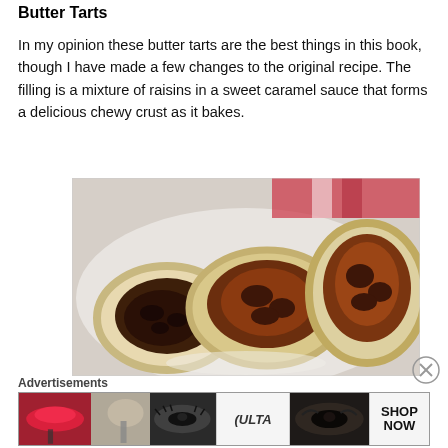Butter Tarts
In my opinion these butter tarts are the best things in this book, though I have made a few changes to the original recipe. The filling is a mixture of raisins in a sweet caramel sauce that forms a delicious chewy crust as it bakes.
[Figure (photo): Three butter tarts on a white plate, with one halved to show the dark caramel and raisin filling inside a pale pastry shell with crimped edges.]
Advertisements
[Figure (screenshot): Ulta Beauty advertisement banner showing beauty product images with lips, makeup brush, eye makeup, Ulta logo, and SHOP NOW text.]